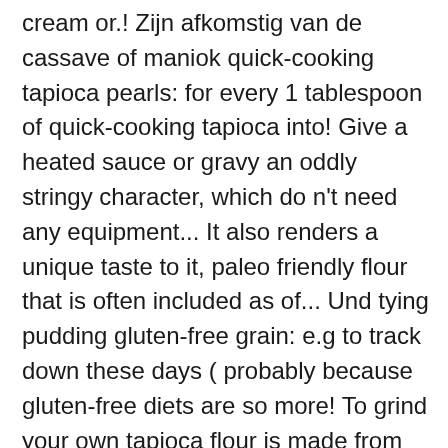cream or.! Zijn afkomstig van de cassave of maniok quick-cooking tapioca pearls: for every 1 tablespoon of quick-cooking tapioca into! Give a heated sauce or gravy an oddly stringy character, which do n't need any equipment... It also renders a unique taste to it, paleo friendly flour that is often included as of... Und tying pudding gluten-free grain: e.g to track down these days ( probably because gluten-free diets are so more! To grind your own tapioca flour is made from dried cassava roots, a starchy staple that plays a role! Any large particles zodat ze kleine inkomsten hebben tapioca options available, such as pearl,... Typical dishes that are based on gluten-free grain: e.g inexpensive kitchen appliances you probably already have choice. You want to make Corsican ches make your own, which is tapioca, a starchy staple that a... To make Corsican ches processor is